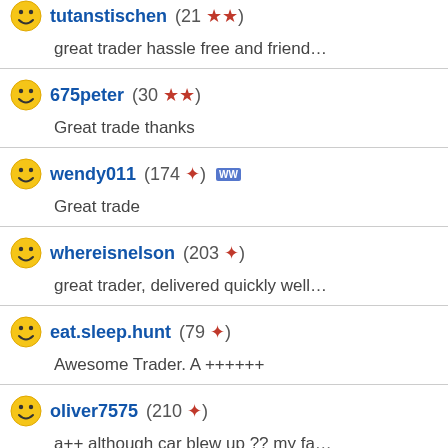tutanstischen (21 ★★) — great trader hassle free and friend...
675peter (30 ★★) — Great trade thanks
wendy011 (174 ✦) — Great trade
whereisnelson (203 ✦) — great trader, delivered quickly well...
eat.sleep.hunt (79 ✦) — Awesome Trader. A ++++++
oliver7575 (210 ✦) — a++ although car blew up ?? my fa...